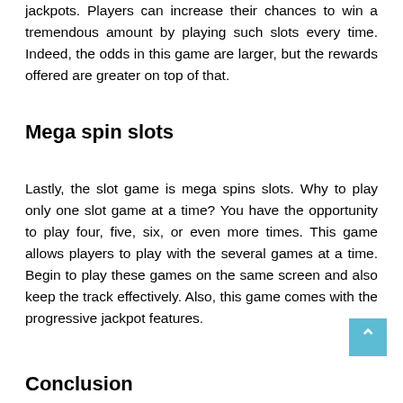jackpots. Players can increase their chances to win a tremendous amount by playing such slots every time. Indeed, the odds in this game are larger, but the rewards offered are greater on top of that.
Mega spin slots
Lastly, the slot game is mega spins slots. Why to play only one slot game at a time? You have the opportunity to play four, five, six, or even more times. This game allows players to play with the several games at a time. Begin to play these games on the same screen and also keep the track effectively. Also, this game comes with the progressive jackpot features.
Conclusion